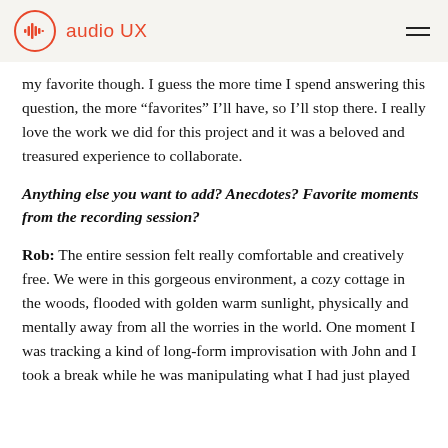audio UX
my favorite though. I guess the more time I spend answering this question, the more “favorites” I’ll have, so I’ll stop there. I really love the work we did for this project and it was a beloved and treasured experience to collaborate.
Anything else you want to add? Anecdotes? Favorite moments from the recording session?
Rob: The entire session felt really comfortable and creatively free. We were in this gorgeous environment, a cozy cottage in the woods, flooded with golden warm sunlight, physically and mentally away from all the worries in the world. One moment I was tracking a kind of long-form improvisation with John and I took a break while he was manipulating what I had just played